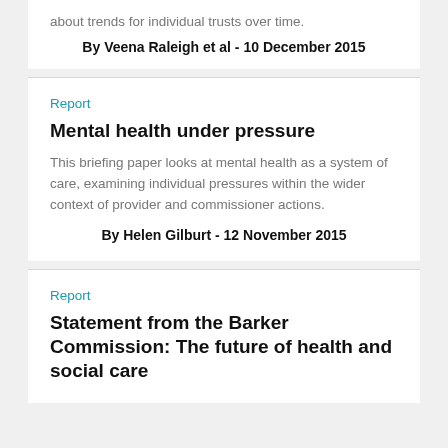about trends for individual trusts over time.
By Veena Raleigh et al - 10 December 2015
Report
Mental health under pressure
This briefing paper looks at mental health as a system of care, examining individual pressures within the wider context of provider and commissioner actions.
By Helen Gilburt - 12 November 2015
Report
Statement from the Barker Commission: The future of health and social care